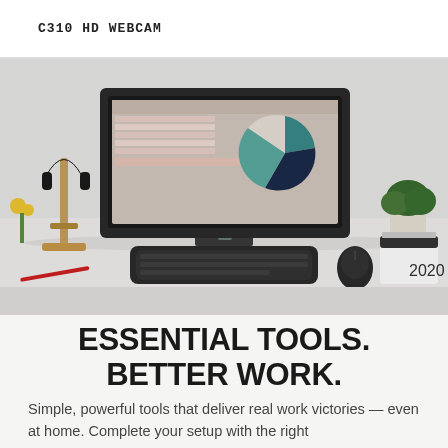C310 HD WEBCAM
[Figure (photo): A desk setup showing a large monitor displaying a spreadsheet with a pie chart, a wireless keyboard and mouse, a headset on a wooden headphone stand, a plant, a 2020 desk calendar, and office accessories on a white desk.]
ESSENTIAL TOOLS. BETTER WORK.
Simple, powerful tools that deliver real work victories — even at home. Complete your setup with the right